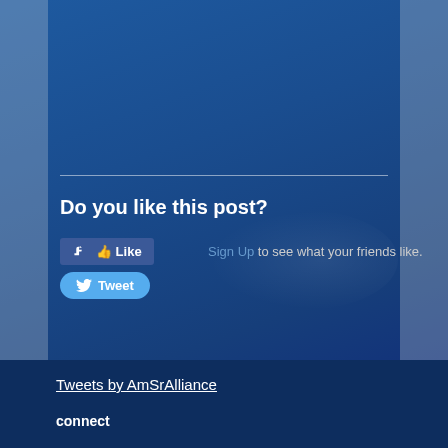[Figure (screenshot): Blue sky background with cloud in upper right area, dark blue overlay]
Do you like this post?
Like   Sign Up to see what your friends like.
Tweet
Tweets by AmSrAlliance
connect